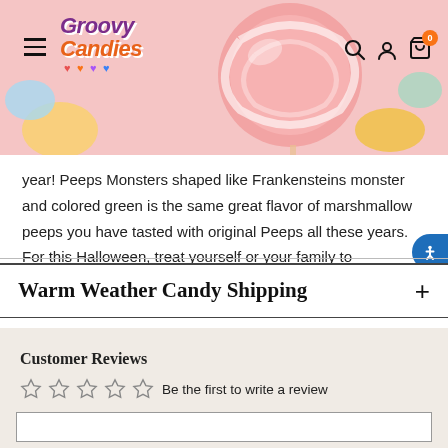[Figure (screenshot): Groovy Candies website header with colorful candy background image, hamburger menu, logo, search, account and cart icons with 0 badge]
year! Peeps Monsters shaped like Frankensteins monster and colored green is the same great flavor of marshmallow peeps you have tasted with original Peeps all these years. For this Halloween, treat yourself or your family to Frankenstein shaped peeps, the soft marshmallow candies that are a must have for any holiday season.
Warm Weather Candy Shipping
Customer Reviews
Be the first to write a review